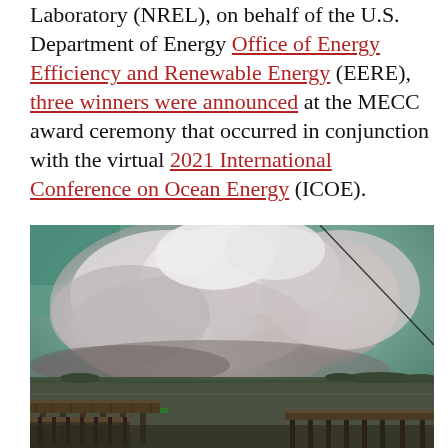Laboratory (NREL), on behalf of the U.S. Department of Energy Office of Energy Efficiency and Renewable Energy (EERE), three winners were announced at the MECC award ceremony that occurred in conjunction with the virtual 2021 International Conference on Ocean Energy (ICOE).
[Figure (photo): Photograph of a waterside scene with a dramatic stormy sky filled with large cumulus clouds, a wooden pier/dock in the foreground on the right and left, water in the middle ground, and a thin wire/cable visible in the upper right. The sky has a greenish-teal tint suggesting a storm. The horizon shows flat land in the distance.]